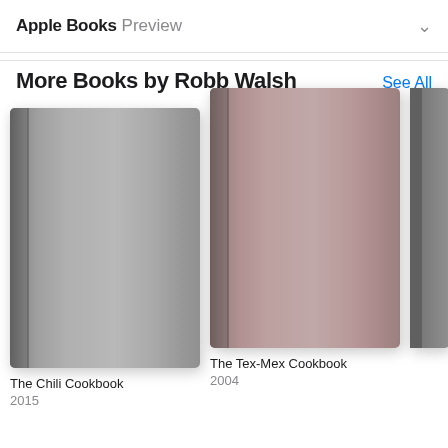Apple Books Preview
More Books by Robb Walsh
See All
[Figure (illustration): Book cover of The Chili Cookbook - gray/silver colored hardcover book]
The Chili Cookbook
2015
[Figure (illustration): Book cover of The Tex-Mex Cookbook - dusty pink/mauve colored hardcover book]
The Tex-Mex Cookbook
2004
[Figure (illustration): Partial book cover - third book partially visible on right edge]